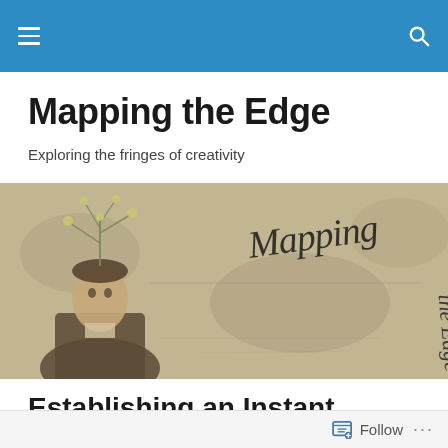Mapping the Edge
Exploring the fringes of creativity
[Figure (illustration): Blog banner image showing a vintage sepia-toned photograph of a man with a stylized tree/branches emerging from his head, with the cursive text 'Mapping the Edge' overlaid on a textured background.]
Establishing an Instant Reputation
Follow